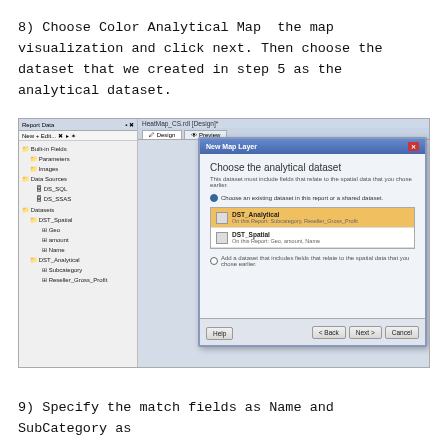8) Choose Color Analytical Map  the map visualization and click next. Then choose the dataset that we created in step 5 as the analytical dataset.
[Figure (screenshot): Screenshot of a report designer interface showing a 'New Map Layer' dialog with 'Choose the analytical dataset' heading. The left panel shows a tree of Report Data including Built-in Fields, Parameters, Images, Data Sources (DS_SQL, DS_SSAS), Datasets (DST_Spatial with Geo, amount, Name; DST_Analytical with Subcategory, Reseller_Gross_Profit). The dialog has a radio button for 'Choose an existing dataset in this report or a shared dataset' selected, showing DST_Analytical (highlighted in orange) with 'On this Report: Subcategory, Reseller_Gross_Profit' and DST_Spatial with 'On this Report: Geo, amount, Name'. Dialog has Help, < Back, Next >, and Cancel buttons.]
9) Specify the match fields as Name and SubCategory as